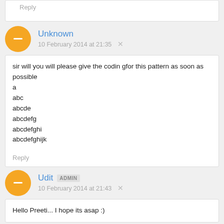Reply
Unknown
10 February 2014 at 21:35
sir will you will please give the codin gfor this pattern as soon as possible
a
abc
abcde
abcdefg
abcdefghi
abcdefghijk
Reply
Udit ADMIN
10 February 2014 at 21:43
Hello Preeti... I hope its asap :)